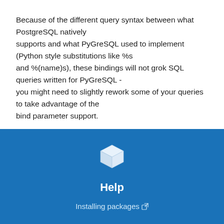Because of the different query syntax between what PostgreSQL natively supports and what PyGreSQL used to implement (Python style substitutions like %s and %(name)s), these bindings will not grok SQL queries written for PyGreSQL - you might need to slightly rework some of your queries to take advantage of the bind parameter support.
[Figure (illustration): White 3D cube icon on blue background]
Help
Installing packages